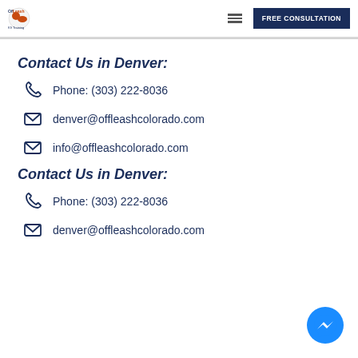Off-Leash K9 Training Logo | FREE CONSULTATION
Contact Us in Denver:
Phone: (303) 222-8036
denver@offleashcolorado.com
info@offleashcolorado.com
Contact Us in Denver:
Phone: (303) 222-8036
denver@offleashcolorado.com
[Figure (logo): Facebook Messenger circular button]